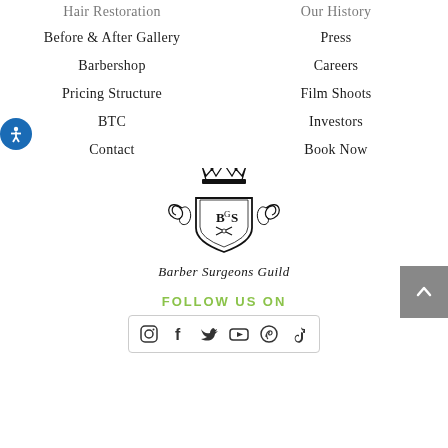Hair Restoration
Our History
Before & After Gallery
Press
Barbershop
Careers
Pricing Structure
Film Shoots
BTC
Investors
Contact
Book Now
[Figure (logo): Barber Surgeons Guild crest logo with crown, shield, and ornate decoration, with script text 'Barber Surgeons Guild' beneath]
FOLLOW US ON
[Figure (infographic): Social media icons row: Instagram, Facebook, Twitter, YouTube, Pinterest, TikTok inside a rounded rectangle border]